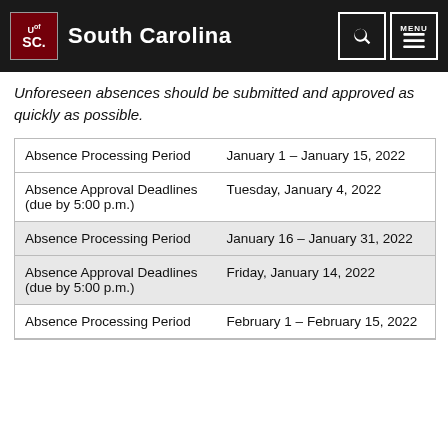University of South Carolina
Unforeseen absences should be submitted and approved as quickly as possible.
|  |  |
| --- | --- |
| Absence Processing Period | January 1 – January 15, 2022 |
| Absence Approval Deadlines (due by 5:00 p.m.) | Tuesday, January 4, 2022 |
| Absence Processing Period | January 16 – January 31, 2022 |
| Absence Approval Deadlines (due by 5:00 p.m.) | Friday, January 14, 2022 |
| Absence Processing Period | February 1 – February 15, 2022 |
| Absence Approval Deadlines (due by 5:00 p.m.) |  |